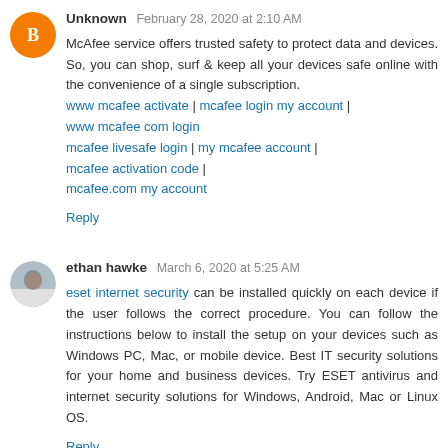Unknown February 28, 2020 at 2:10 AM
McAfee service offers trusted safety to protect data and devices. So, you can shop, surf & keep all your devices safe online with the convenience of a single subscription. www mcafee activate | mcafee login my account | www mcafee com login mcafee livesafe login | my mcafee account | mcafee activation code | mcafee.com my account
Reply
ethan hawke March 6, 2020 at 5:25 AM
eset internet security can be installed quickly on each device if the user follows the correct procedure. You can follow the instructions below to install the setup on your devices such as Windows PC, Mac, or mobile device. Best IT security solutions for your home and business devices. Try ESET antivirus and internet security solutions for Windows, Android, Mac or Linux OS.
Reply